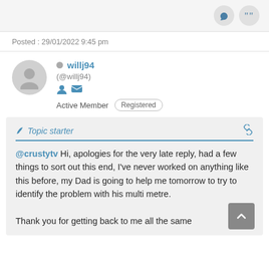Posted : 29/01/2022 9:45 pm
willj94 (@willj94) Active Member Registered
Topic starter
@crustytv Hi, apologies for the very late reply, had a few things to sort out this end, I've never worked on anything like this before, my Dad is going to help me tomorrow to try to identify the problem with his multi metre.

Thank you for getting back to me all the same